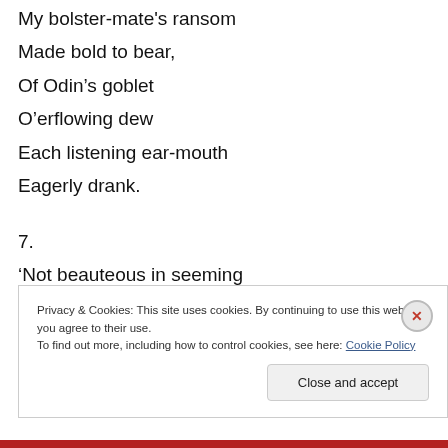My bolster-mate's ransom
Made bold to bear,
Of Odin’s goblet
O’erflowing dew
Each listening ear-mouth
Eagerly drank.
7.
‘Not beauteous in seeming
My bardic fee
To ranks of heroes
In royal hall;
Privacy & Cookies: This site uses cookies. By continuing to use this website, you agree to their use.
To find out more, including how to control cookies, see here: Cookie Policy
Close and accept